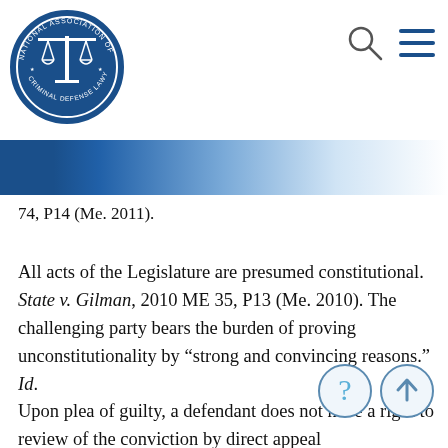[Figure (logo): National Association of Criminal Defense Lawyers circular logo with blue background and scales of justice]
[Figure (other): Search magnifying glass icon and hamburger menu icon in top right]
74, P14 (Me. 2011).
All acts of the Legislature are presumed constitutional. State v. Gilman, 2010 ME 35, P13 (Me. 2010). The challenging party bears the burden of proving unconstitutionality by “strong and convincing reasons.” Id.
Upon plea of guilty, a defendant does not have a right to review of the conviction by direct appeal